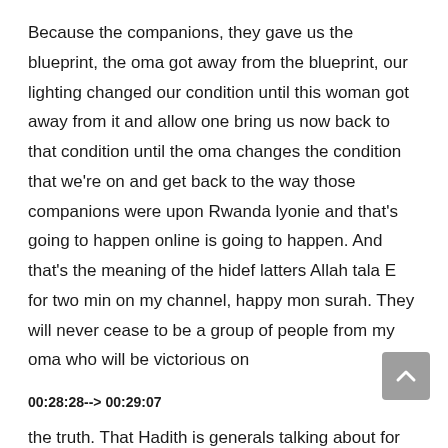Because the companions, they gave us the blueprint, the oma got away from the blueprint, our lighting changed our condition until this woman got away from it and allow one bring us now back to that condition until the oma changes the condition that we're on and get back to the way those companions were upon Rwanda lyonie and that's going to happen online is going to happen. And that's the meaning of the hidef latters Allah tala E for two min on my channel, happy mon surah. They will never cease to be a group of people from my oma who will be victorious on
00:28:28--> 00:29:07
the truth. That Hadith is generals talking about for every time and every place that have people or upon the truth inshallah, but the IDF is specifically talking about reassembling Maryam when he comes